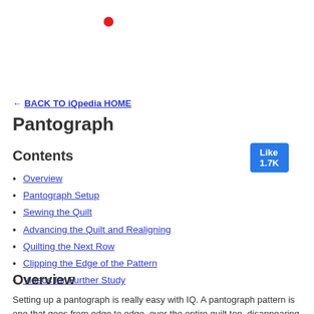[Figure (other): Red dot marker at top of page]
[Figure (other): Blue Like button showing 1.7K likes]
← BACK TO iQpedia HOME
Pantograph
Contents
Overview
Pantograph Setup
Sewing the Quilt
Advancing the Quilt and Realigning
Quilting the Next Row
Clipping the Edge of the Pattern
Videos for Further Study
Overview
Setting up a pantograph is really easy with IQ. A pantograph pattern is one that goes from edge to edge, over the entire quilt top, disappearing